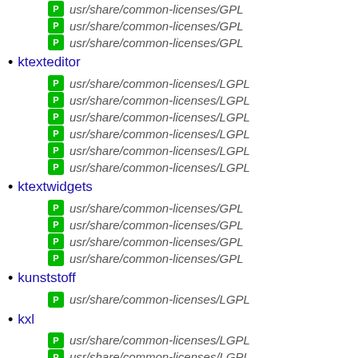usr/share/common-licenses/GPL (x3, top continuation)
ktexteditor
usr/share/common-licenses/LGPL (x6, under ktexteditor)
ktextwidgets
usr/share/common-licenses/GPL (x4, under ktextwidgets)
kunststoff
usr/share/common-licenses/LGPL (x1, under kunststoff)
kxl
usr/share/common-licenses/LGPL (x2, under kxl)
kxmlgui
usr/share/common-licenses/GPL (x5+, under kxmlgui)